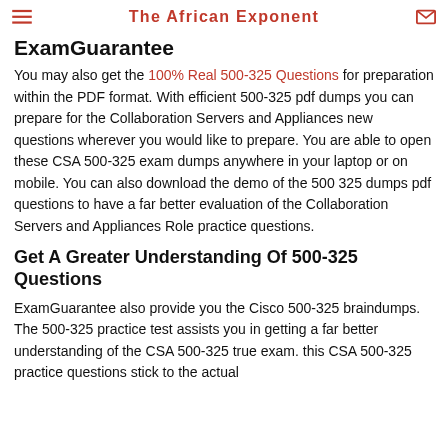The African Exponent
ExamGuarantee
You may also get the 100% Real 500-325 Questions for preparation within the PDF format. With efficient 500-325 pdf dumps you can prepare for the Collaboration Servers and Appliances new questions wherever you would like to prepare. You are able to open these CSA 500-325 exam dumps anywhere in your laptop or on mobile. You can also download the demo of the 500 325 dumps pdf questions to have a far better evaluation of the Collaboration Servers and Appliances Role practice questions.
Get A Greater Understanding Of 500-325 Questions
ExamGuarantee also provide you the Cisco 500-325 braindumps. The 500-325 practice test assists you in getting a far better understanding of the CSA 500-325 true exam. this CSA 500-325 practice questions stick to the actual